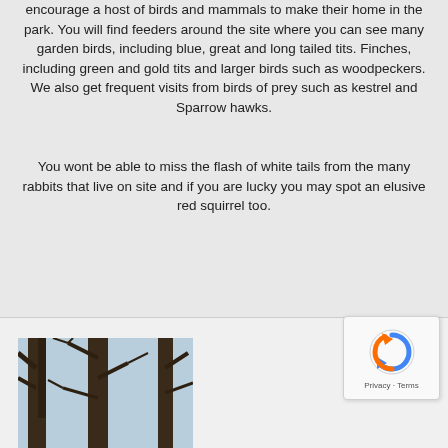encourage a host of birds and mammals to make their home in the park. You will find feeders around the site where you can see many garden birds, including blue, great and long tailed tits. Finches, including green and gold tits and larger birds such as woodpeckers. We also get frequent visits from birds of prey such as kestrel and Sparrow hawks.
You wont be able to miss the flash of white tails from the many rabbits that live on site and if you are lucky you may spot an elusive red squirrel too.
[Figure (photo): Photograph of tree trunks and bare branches against a light blue sky, taken from below looking up.]